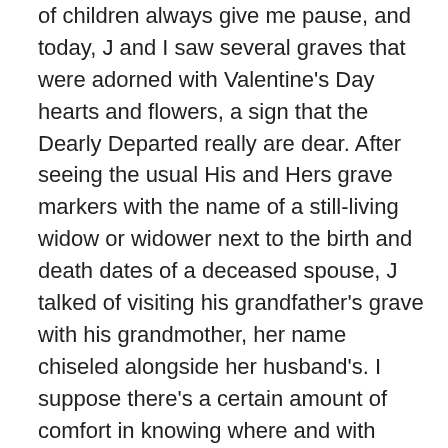of children always give me pause, and today, J and I saw several graves that were adorned with Valentine's Day hearts and flowers, a sign that the Dearly Departed really are dear. After seeing the usual His and Hers grave markers with the name of a still-living widow or widower next to the birth and death dates of a deceased spouse, J talked of visiting his grandfather's grave with his grandmother, her name chiseled alongside her husband's. I suppose there's a certain amount of comfort in knowing where and with whom your ultimate resting place will be,visits to your own (eventual) grave being one way of getting to know your (eventual) neighborhood.
Both J and I grew quiet when we approached a field of war dead, that portion of any cemetery always seeming too large. But the memorial that stunned us both into silence was this one, the death date (September 11, 2001)